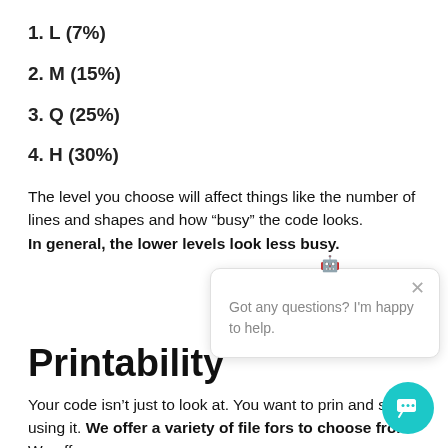1. L (7%)
2. M (15%)
3. Q (25%)
4. H (30%)
The level you choose will affect things like the number of lines and shapes and how “busy” the code looks.
In general, the lower levels look less busy.
Printability
Your code isn’t just to look at. You want to print it and start using it. We offer a variety of file formats to choose from. We offer: